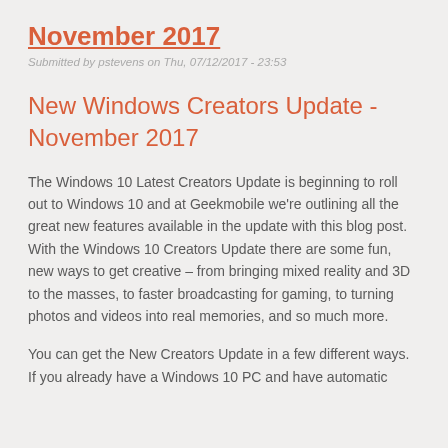November 2017
Submitted by pstevens on Thu, 07/12/2017 - 23:53
New Windows Creators Update - November 2017
The Windows 10 Latest Creators Update is beginning to roll out to Windows 10 and at Geekmobile we're outlining all the great new features available in the update with this blog post. With the Windows 10 Creators Update there are some fun, new ways to get creative – from bringing mixed reality and 3D to the masses, to faster broadcasting for gaming, to turning photos and videos into real memories, and so much more.
You can get the New Creators Update in a few different ways. If you already have a Windows 10 PC and have automatic